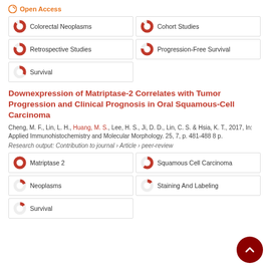Colorectal Neoplasms
Cohort Studies
Retrospective Studies
Progression-Free Survival
Survival
Downexpression of Matriptase-2 Correlates with Tumor Progression and Clinical Prognosis in Oral Squamous-Cell Carcinoma
Cheng, M. F., Lin, L. H., Huang, M. S., Lee, H. S., Ji, D. D., Lin, C. S. & Hsia, K. T., 2017, In: Applied Immunohistochemistry and Molecular Morphology. 25, 7, p. 481-488 8 p.
Research output: Contribution to journal › Article › peer-review
Matriptase 2
Squamous Cell Carcinoma
Neoplasms
Staining And Labeling
Survival